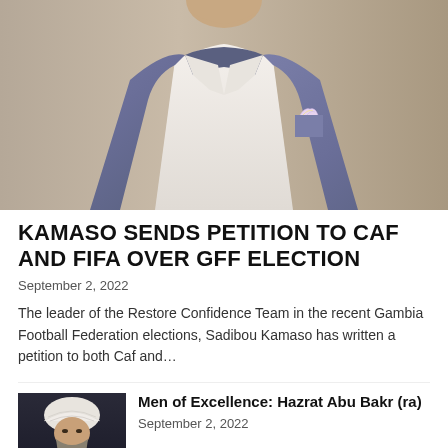[Figure (photo): Close-up photo of a man in a blue/grey suit with a white shirt and colorful pocket square, cropped to show chest and chin only]
KAMASO SENDS PETITION TO CAF AND FIFA OVER GFF ELECTION
September 2, 2022
The leader of the Restore Confidence Team in the recent Gambia Football Federation elections, Sadibou Kamaso has written a petition to both Caf and…
[Figure (photo): Thumbnail photo of a man wearing a white turban and religious dress]
Men of Excellence: Hazrat Abu Bakr (ra)
September 2, 2022